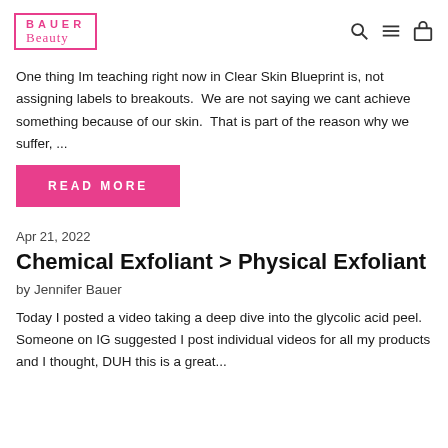BAUER Beauty
One thing Im teaching right now in Clear Skin Blueprint is, not assigning labels to breakouts.  We are not saying we cant achieve something because of our skin.  That is part of the reason why we suffer, ...
READ MORE
Apr 21, 2022
Chemical Exfoliant > Physical Exfoliant
by Jennifer Bauer
Today I posted a video taking a deep dive into the glycolic acid peel. Someone on IG suggested I post individual videos for all my products and I thought, DUH this is a great...